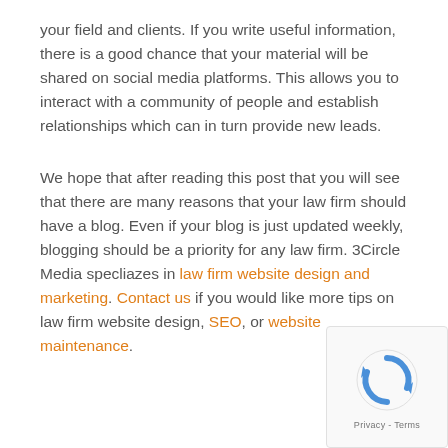your field and clients. If you write useful information, there is a good chance that your material will be shared on social media platforms. This allows you to interact with a community of people and establish relationships which can in turn provide new leads.
We hope that after reading this post that you will see that there are many reasons that your law firm should have a blog. Even if your blog is just updated weekly, blogging should be a priority for any law firm. 3Circle Media specliazes in law firm website design and marketing. Contact us if you would like more tips on law firm website design, SEO, or website maintenance.
[Figure (other): reCAPTCHA badge with spinning arrows icon and Privacy - Terms text]